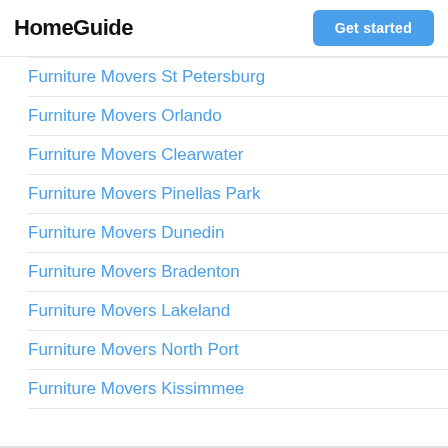HomeGuide | Get started
Furniture Movers St Petersburg
Furniture Movers Orlando
Furniture Movers Clearwater
Furniture Movers Pinellas Park
Furniture Movers Dunedin
Furniture Movers Bradenton
Furniture Movers Lakeland
Furniture Movers North Port
Furniture Movers Kissimmee